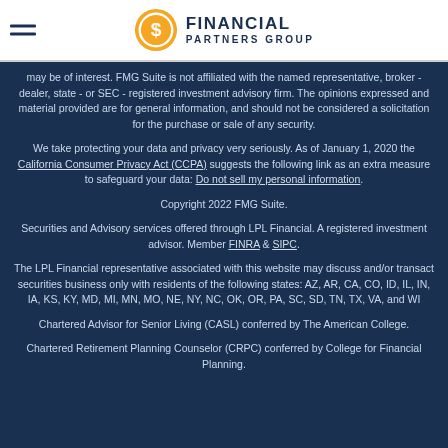Financial Partners Group
may be of interest. FMG Suite is not affiliated with the named representative, broker - dealer, state - or SEC - registered investment advisory firm. The opinions expressed and material provided are for general information, and should not be considered a solicitation for the purchase or sale of any security.
We take protecting your data and privacy very seriously. As of January 1, 2020 the California Consumer Privacy Act (CCPA) suggests the following link as an extra measure to safeguard your data: Do not sell my personal information.
Copyright 2022 FMG Suite.
Securities and Advisory services offered through LPL Financial. A registered investment advisor. Member FINRA & SIPC.
The LPL Financial representative associated with this website may discuss and/or transact securities business only with residents of the following states: AZ, AR, CA, CO, ID, IL, IN, IA, KS, KY, MD, MI, MN, MO, NE, NY, NC, OK, OR, PA, SC, SD, TN, TX, VA, and WI
Chartered Advisor for Senior Living (CASL) conferred by The American College.
Chartered Retirement Planning Counselor (CRPC) conferred by College for Financial Planning.